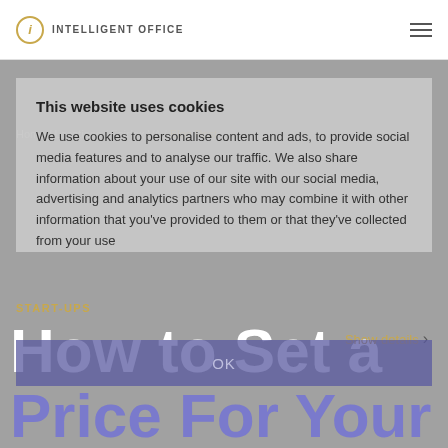INTELLIGENT OFFICE
This website uses cookies
We use cookies to personalise content and ads, to provide social media features and to analyse our traffic. We also share information about your use of our site with our social media, advertising and analytics partners who may combine it with other information that you've provided to them or that they've collected from your use
Home / Locations / Fairfax VA / Blog Post
Show details >
START-UPS
How to Set a Price For Your
OK